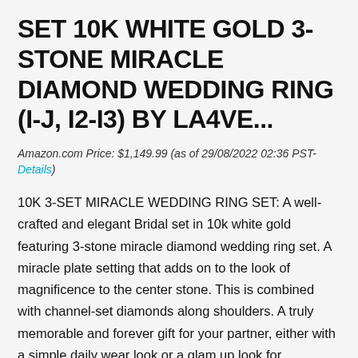SET 10K WHITE GOLD 3-STONE MIRACLE DIAMOND WEDDING RING (I-J, I2-I3) BY LA4VE...
Amazon.com Price: $1,149.99 (as of 29/08/2022 02:36 PST- Details)
10K 3-SET MIRACLE WEDDING RING SET: A well-crafted and elegant Bridal set in 10k white gold featuring 3-stone miracle diamond wedding ring set. A miracle plate setting that adds on to the look of magnificence to the center stone. This is combined with channel-set diamonds along shoulders. A truly memorable and forever gift for your partner, either with a simple daily wear look or a glam up look for occasions with the shine